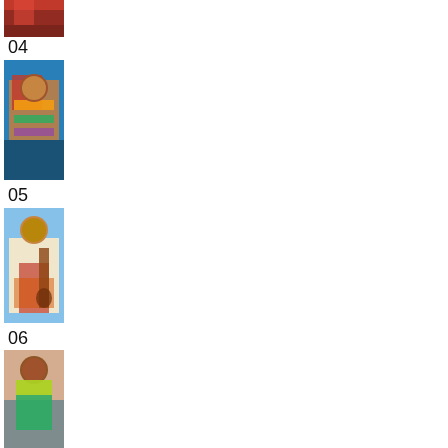[Figure (photo): Partial view of person in red/dark clothing at top of page (item 03 bottom)]
04
[Figure (photo): Woman in colorful striped clothing against blue background]
05
[Figure (photo): Person playing a stringed instrument, blue background]
06
[Figure (photo): Person in green/yellow top sitting, painted mural background]
07
[Figure (photo): Woman in orange/red sari with polka dots]
08
[Figure (photo): Person in colorful textile/wrap, blue background]
09
[Figure (photo): Partial view at bottom of page (item 09 image)]